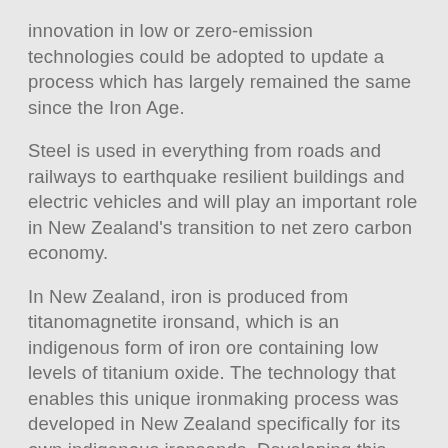innovation in low or zero-emission technologies could be adopted to update a process which has largely remained the same since the Iron Age.
Steel is used in everything from roads and railways to earthquake resilient buildings and electric vehicles and will play an important role in New Zealand's transition to net zero carbon economy.
In New Zealand, iron is produced from titanomagnetite ironsand, which is an indigenous form of iron ore containing low levels of titanium oxide. The technology that enables this unique ironmaking process was developed in New Zealand specifically for its own indigenous ironsands. Developing this low-emissions hydrogen technology with ironsands is the next, exciting step for local steelmaking in New Zealand.